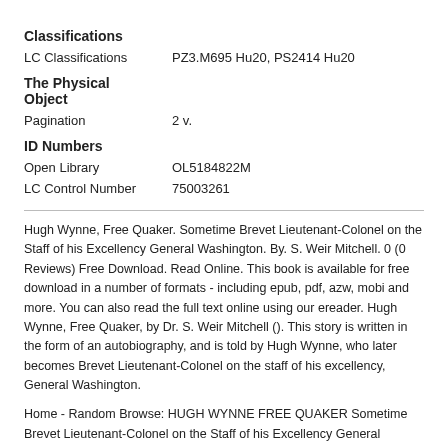Classifications
LC Classifications    PZ3.M695 Hu20, PS2414 Hu20
The Physical Object
Pagination    2 v.
ID Numbers
Open Library    OL5184822M
LC Control Number    75003261
Hugh Wynne, Free Quaker. Sometime Brevet Lieutenant-Colonel on the Staff of his Excellency General Washington. By. S. Weir Mitchell. 0 (0 Reviews) Free Download. Read Online. This book is available for free download in a number of formats - including epub, pdf, azw, mobi and more. You can also read the full text online using our ereader. Hugh Wynne, Free Quaker, by Dr. S. Weir Mitchell (). This story is written in the form of an autobiography, and is told by Hugh Wynne, who later becomes Brevet Lieutenant-Colonel on the staff of his excellency, General Washington.
Home - Random Browse: HUGH WYNNE FREE QUAKER Sometime Brevet Lieutenant-Colonel on the Staff of his Excellency General Washington. By S. WEIR MITCHELL. By. This book is available for free download...